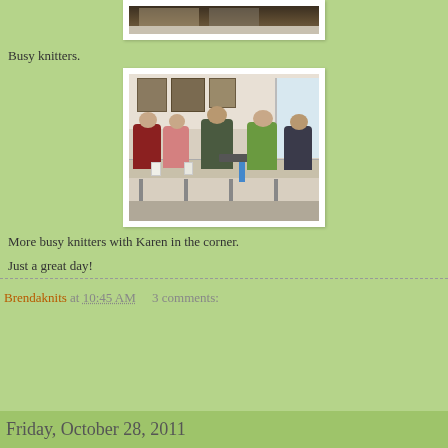[Figure (photo): Partial top of a photo showing people knitting at a table, only bottom strip visible]
Busy knitters.
[Figure (photo): Group of women knitting around a long table in a community room, with pictures on the wall and a window in the background]
More busy knitters with Karen in the corner.
Just a great day!
Brendaknits at 10:45 AM    3 comments:
Friday, October 28, 2011